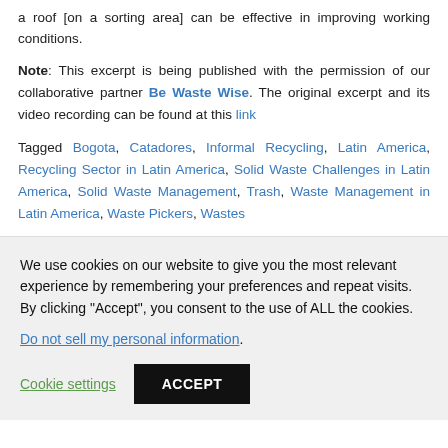a roof [on a sorting area] can be effective in improving working conditions.
Note: This excerpt is being published with the permission of our collaborative partner Be Waste Wise. The original excerpt and its video recording can be found at this link
Tagged Bogota, Catadores, Informal Recycling, Latin America, Recycling Sector in Latin America, Solid Waste Challenges in Latin America, Solid Waste Management, Trash, Waste Management in Latin America, Waste Pickers, Wastes
We use cookies on our website to give you the most relevant experience by remembering your preferences and repeat visits. By clicking "Accept", you consent to the use of ALL the cookies.
Do not sell my personal information.
Cookie settings   ACCEPT